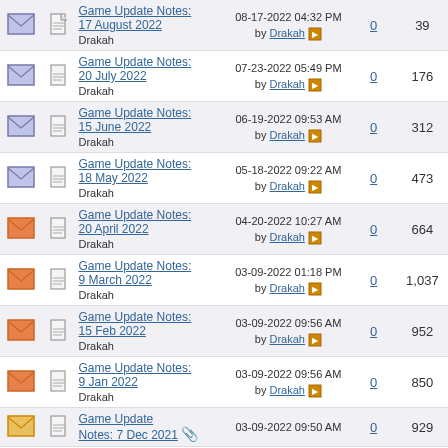|  |  | Title | Last Post | Replies | Views |
| --- | --- | --- | --- | --- | --- |
| [envelope-blue] | [doc] | Game Update Notes: 17 August 2022
Drakah | 08-17-2022 04:32 PM by Drakah | 0 | 39 |
| [envelope-blue] | [doc] | Game Update Notes: 20 July 2022
Drakah | 07-23-2022 05:49 PM by Drakah | 0 | 176 |
| [envelope-blue] | [doc] | Game Update Notes: 15 June 2022
Drakah | 06-19-2022 09:53 AM by Drakah | 0 | 312 |
| [envelope-blue] | [doc] | Game Update Notes: 18 May 2022
Drakah | 05-18-2022 09:22 AM by Drakah | 0 | 473 |
| [envelope-red] | [doc] | Game Update Notes: 20 April 2022
Drakah | 04-20-2022 10:27 AM by Drakah | 0 | 664 |
| [envelope-red] | [doc] | Game Update Notes: 9 March 2022
Drakah | 03-09-2022 01:18 PM by Drakah | 0 | 1,037 |
| [envelope-red] | [doc] | Game Update Notes: 15 Feb 2022
Drakah | 03-09-2022 09:56 AM by Drakah | 0 | 952 |
| [envelope-red] | [doc] | Game Update Notes: 9 Jan 2022
Drakah | 03-09-2022 09:56 AM by Drakah | 0 | 850 |
| [envelope-gold] | [doc] | Game Update Notes: 7 Dec 2021 [attach] | 03-09-2022 09:50 AM | 0 | 929 |